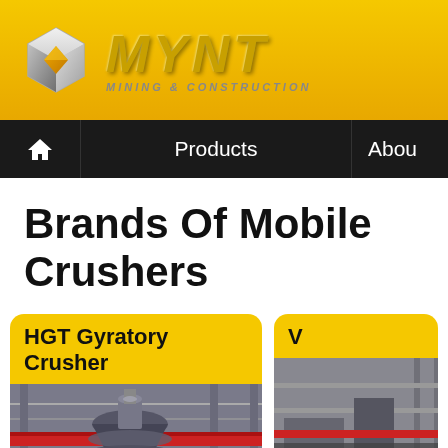[Figure (logo): MYNT Mining & Construction logo with geometric cube icon and metallic gold text]
Products | Abou
Brands Of Mobile Crushers
HGT Gyratory Crusher
[Figure (photo): Industrial gyratory crusher machinery inside a factory/plant structure with steel framework and red pipe]
V
[Figure (photo): Partially visible second product card with machinery image]